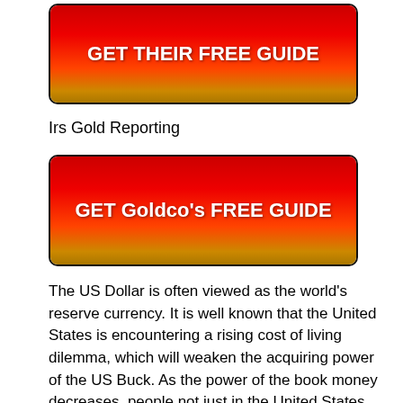[Figure (other): Red to gold gradient button with bold white text reading GET THEIR FREE GUIDE]
Irs Gold Reporting
[Figure (other): Red to gold gradient button with bold white text reading GET Goldco's FREE GUIDE]
The US Dollar is often viewed as the world's reserve currency. It is well known that the United States is encountering a rising cost of living dilemma, which will weaken the acquiring power of the US Buck. As the power of the book money decreases, people not just in the United States, yet around the